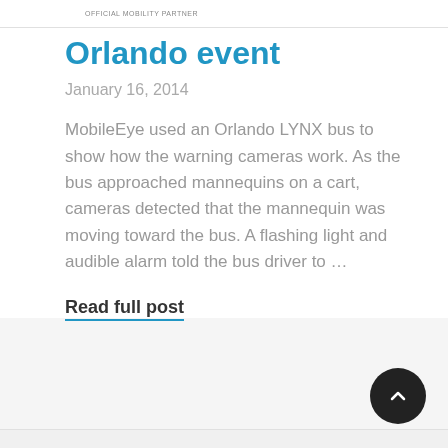OFFICIAL MOBILITY PARTNER
Orlando event
January 16, 2014
MobileEye used an Orlando LYNX bus to show how the warning cameras work. As the bus approached mannequins on a cart, cameras detected that the mannequin was moving toward the bus. A flashing light and audible alarm told the bus driver to …
Read full post